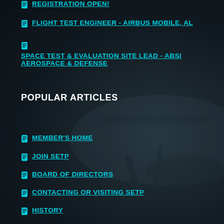REGISTRATION OPEN!
FLIGHT TEST ENGINEER - AIRBUS MOBILE, AL
SPACE TEST & EVALUATION SITE LEAD - ABSI AEROSPACE & DEFENSE
POPULAR ARTICLES
MEMBER'S HOME
JOIN SETP
BOARD OF DIRECTORS
CONTACTING OR VISITING SETP
HISTORY
ARCHIVED ITEMS